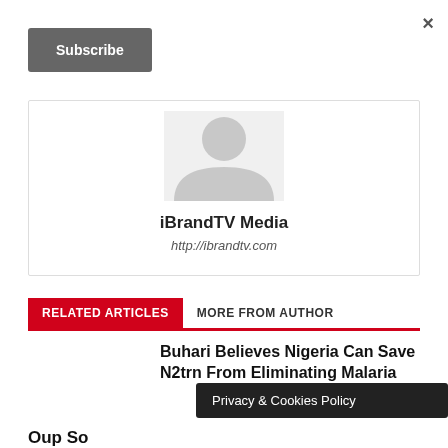×
Subscribe
[Figure (illustration): Default avatar/profile image placeholder showing a grey silhouette of a person]
iBrandTV Media
http://ibrandtv.com
RELATED ARTICLES
MORE FROM AUTHOR
Buhari Believes Nigeria Can Save N2trn From Eliminating Malaria
Privacy & Cookies Policy